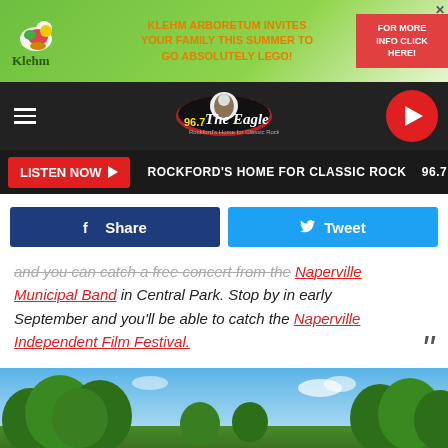[Figure (other): Klehm Arboretum advertisement banner: green background with Klehm logo, orange text 'KLEHM ARBORETUM INVITES YOUR FAMILY THIS SUMMER TO GO ABSOLUTELY LEGO!', red CTA button 'FOR MORE INFO CLICK HERE!']
[Figure (other): 96.7 The Eagle radio station navigation bar with hamburger menu, Eagle logo, and red play button]
LISTEN NOW ▶   ROCKFORD'S HOME FOR CLASSIC ROCK   96.7 THI
[Figure (other): Facebook Share button (dark blue) and Twitter Tweet button (light blue)]
and you can catch a free concert from the Naperville Municipal Band in Central Park. Stop by in early September and you'll be able to catch the Naperville Independent Film Festival.
[Figure (photo): Outdoor park scene with trees and blue sky, likely Central Park in Naperville]
[Figure (other): Bottom advertisement: left side teal 'We're hiring! Come join our team!', right side Berner food & beverage ad 'Openings in production, quality and maintenance' with LEARN MORE button]